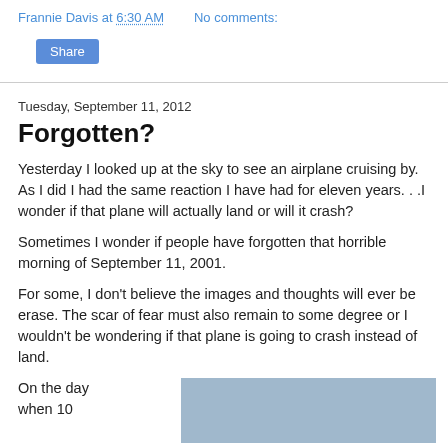Frannie Davis at 6:30 AM   No comments:
Share
Tuesday, September 11, 2012
Forgotten?
Yesterday I looked up at the sky to see an airplane cruising by.  As I did I had the same reaction I have had for eleven years. . .I wonder if that plane will actually land or will it crash?
Sometimes I wonder if people have forgotten that horrible morning of September 11, 2001.
For some, I don't believe the images and thoughts will ever be erase.  The scar of fear must also remain to some degree or I wouldn't be wondering if that plane is going to crash instead of land.
On the day when 10
[Figure (photo): A photo with a blue sky/grey background, partially visible at the bottom right of the page.]